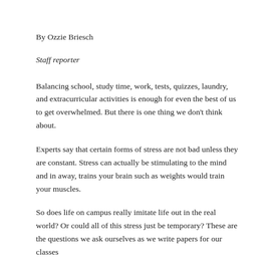By Ozzie Briesch
Staff reporter
Balancing school, study time, work, tests, quizzes, laundry, and extracurricular activities is enough for even the best of us to get overwhelmed. But there is one thing we don’t think about.
Experts say that certain forms of stress are not bad unless they are constant. Stress can actually be stimulating to the mind and in away, trains your brain such as weights would train your muscles.
So does life on campus really imitate life out in the real world? Or could all of this stress just be temporary? These are the questions we ask ourselves as we write papers for our classes